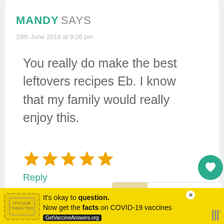MANDY SAYS
28th June 2018 at 9:26 pm
You really do make the best leftovers recipes Eb. I know that my family would really enjoy this.
[Figure (illustration): Five gold/orange star rating icons]
Reply
[Figure (illustration): Heart (like) button showing 10.2K likes and share button]
[Figure (illustration): What's Next widget showing Leftover Chicken and... with food thumbnail]
[Figure (illustration): Yellow advertisement banner: It's okay to question. Now get the facts on COVID-19 vaccines. GetVaccineAnswers.org]